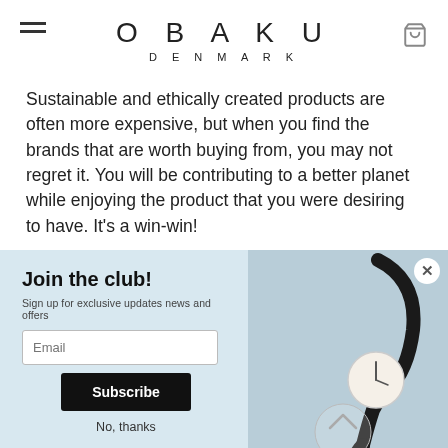OBAKU DENMARK
Sustainable and ethically created products are often more expensive, but when you find the brands that are worth buying from, you may not regret it. You will be contributing to a better planet while enjoying the product that you were desiring to have. It’s a win-win!
We should all invest in essential products that we need, challenging consumer habits with minimalism. We allow more space for the things that matter the most when we are simplifying our li...
Join the club!
Sign up for exclusive updates news and offers
Email
Subscribe
No, thanks
[Figure (photo): Obaku watch with black strap against blue-grey background, shown in popup overlay]